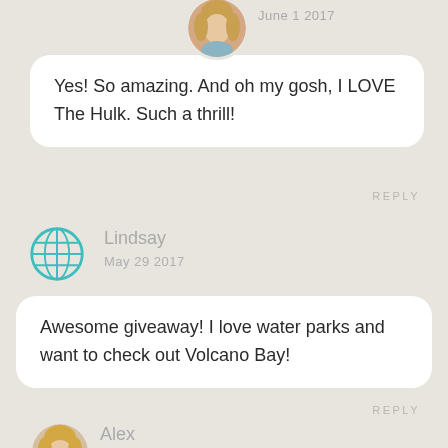[Figure (photo): Circular avatar photo of a blonde woman at the top of the page]
June 1 2017
Yes! So amazing. And oh my gosh, I LOVE The Hulk. Such a thrill!
REPLY
[Figure (illustration): Teal globe/world icon as avatar for commenter Lindsay]
Lindsay
May 29 2017
Awesome giveaway! I love water parks and want to check out Volcano Bay!
REPLY
[Figure (photo): Circular avatar photo of a blonde woman at the bottom of the page for commenter Alex]
Alex